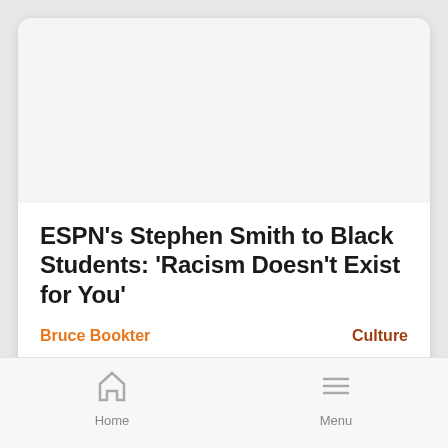ESPN's Stephen Smith to Black Students: 'Racism Doesn't Exist for You'
Bruce Bookter
Culture
[Figure (screenshot): Video button with play icon and label 'Video' on orange background]
Home  Menu